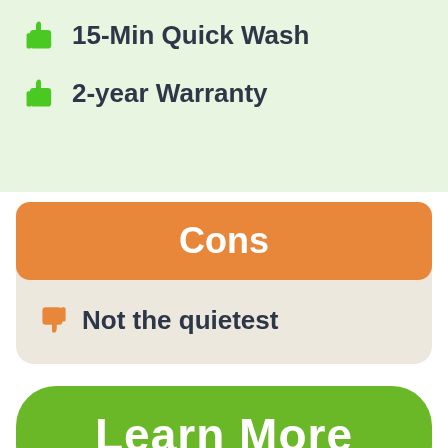15-Min Quick Wash
2-year Warranty
Cons
Not the quietest
Learn More